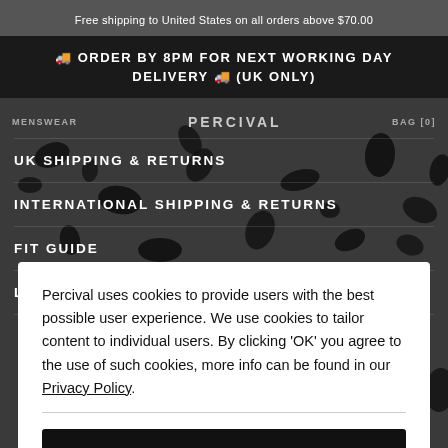Free shipping to United States on all orders above $70.00
🚚 ORDER BY 8PM FOR NEXT WORKING DAY DELIVERY 🚚 (UK ONLY)
MENSWEAR   PERCIVAL   BAG [0]
UK SHIPPING & RETURNS
INTERNATIONAL SHIPPING & RETURNS
FIT GUIDE
LINEN CARE GUIDE
Percival uses cookies to provide users with the best possible user experience. We use cookies to tailor content to individual users. By clicking 'OK' you agree to the use of such cookies, more info can be found in our Privacy Policy.
OK